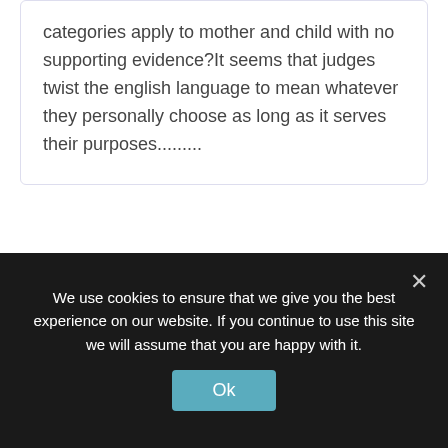categories apply to mother and child with no supporting evidence?It seems that judges twist the english language to mean whatever they personally choose as long as it serves their purposes.........
↵ Reply
↵ 14 April 2014 at 10:52 pm suesspiciousminds ↵
We use cookies to ensure that we give you the best experience on our website. If you continue to use this site we will assume that you are happy with it.
Ok